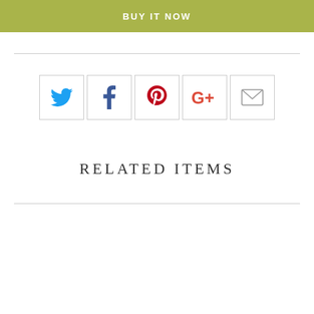BUY IT NOW
[Figure (infographic): Social sharing icons row: Twitter (blue bird), Facebook (dark blue f), Pinterest (red P), Google+ (red G+), Email (envelope) — each in a square border box]
RELATED ITEMS